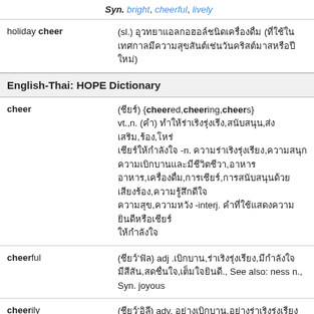Syn. bright, cheerful, lively
holiday cheer (sl.) [Thai text] ([Thai text])
English-Thai: HOPE Dictionary
cheer (Thai) {cheered,cheering,cheers} vt.,n. (Thai) [Thai definitions] -n. [Thai] -interj. [Thai]
cheerful (Thai) adj .[Thai]., See also: ness n., Syn. joyous
cheerily (Thai) adv. [Thai]